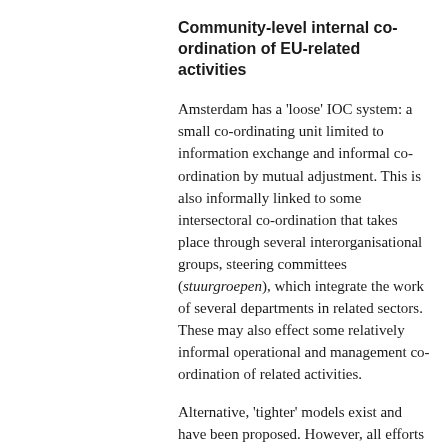Community-level internal co-ordination of EU-related activities
Amsterdam has a 'loose' IOC system: a small co-ordinating unit limited to information exchange and informal co-ordination by mutual adjustment. This is also informally linked to some intersectoral co-ordination that takes place through several interorganisational groups, steering committees (stuurgroepen), which integrate the work of several departments in related sectors. These may also effect some relatively informal operational and management co-ordination of related activities.
Alternative, 'tighter' models exist and have been proposed. However, all efforts at co-ordinating EU-related activities in local municipal administrations have to take into account the salient characteristics of the activities they are co-ordinating. These are that they are